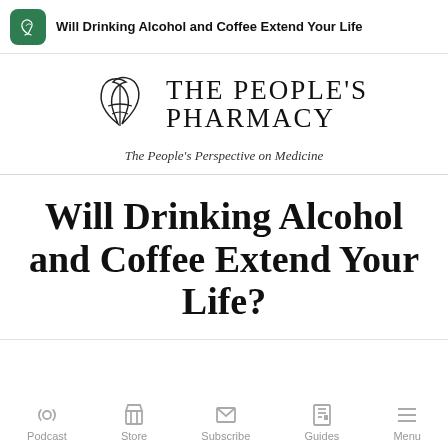Will Drinking Alcohol and Coffee Extend Your Life
[Figure (logo): The People's Pharmacy logo with leaf/mortar icon and tagline 'The People's Perspective on Medicine']
Will Drinking Alcohol and Coffee Extend Your Life?
Podcast | Store | Subscribe | Guides | Menu